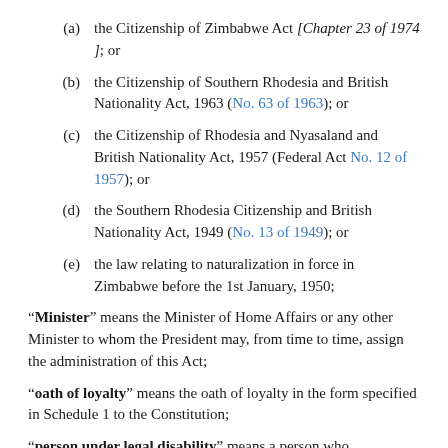(a) the Citizenship of Zimbabwe Act [Chapter 23 of 1974]; or
(b) the Citizenship of Southern Rhodesia and British Nationality Act, 1963 (No. 63 of 1963); or
(c) the Citizenship of Rhodesia and Nyasaland and British Nationality Act, 1957 (Federal Act No. 12 of 1957); or
(d) the Southern Rhodesia Citizenship and British Nationality Act, 1949 (No. 13 of 1949); or
(e) the law relating to naturalization in force in Zimbabwe before the 1st January, 1950;
“Minister” means the Minister of Home Affairs or any other Minister to whom the President may, from time to time, assign the administration of this Act;
“oath of loyalty” means the oath of loyalty in the form specified in Schedule 1 to the Constitution;
“person under legal disability” means a person who